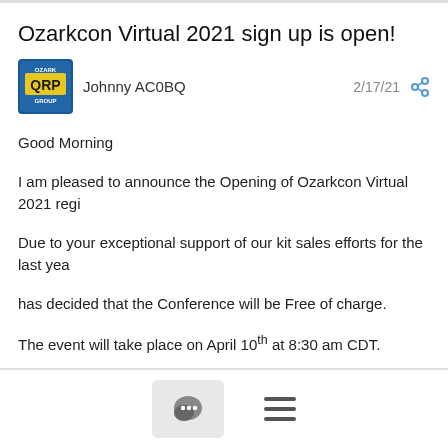Ozarkcon Virtual 2021 sign up is open!
Johnny AC0BQ  2/17/21
Good Morning
I am pleased to announce the Opening of Ozarkcon Virtual 2021 regi...
Due to your exceptional support of our kit sales efforts for the last yea... has decided that the Conference will be Free of charge.
The event will take place on April 10th at 8:30 am CDT.
We will be broadcasting via Zoom and are limited to 500 participants,